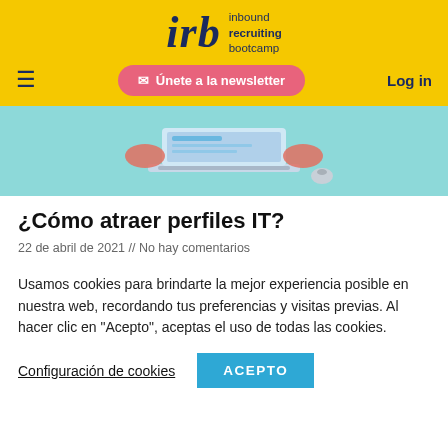[Figure (logo): IRB Inbound Recruiting Bootcamp logo on yellow background]
[Figure (illustration): Illustration of person working at a laptop on a teal background]
¿Cómo atraer perfiles IT?
22 de abril de 2021 // No hay comentarios
Usamos cookies para brindarte la mejor experiencia posible en nuestra web, recordando tus preferencias y visitas previas. Al hacer clic en "Acepto", aceptas el uso de todas las cookies.
Configuración de cookies   ACEPTO